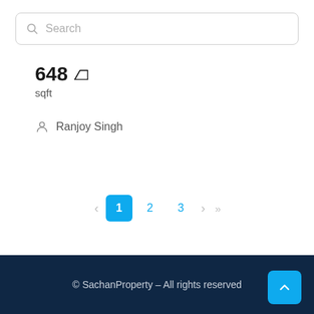[Figure (screenshot): Search bar with magnifying glass icon and placeholder text 'Search']
648 sqft
Ranjoy Singh
[Figure (other): Pagination controls: < 1 2 3 > >>]
© SachanProperty – All rights reserved